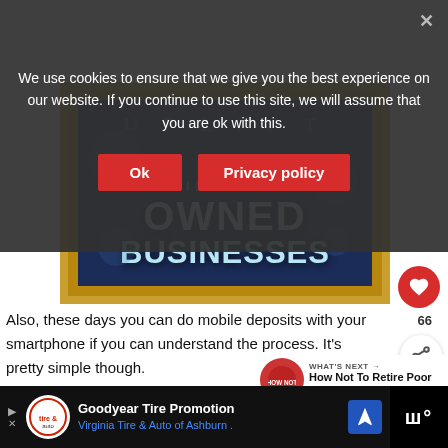We use cookies to ensure that we give you the best experience on our website. If you continue to use this site, we will assume that you are ok with this.
[Figure (illustration): Illustration of a framed sign reading UPLIFT MINORITY OWNED BUSINESSES on a dark blue background with golden border, partial curtain visible at top]
Also, these days you can do mobile deposits with your smartphone if you can understand the process. It's pretty simple though.
[Figure (infographic): What's Next widget: How Not To Retire Poor I... with circular thumbnail]
[Figure (other): Advertisement: Goodyear Tire Promotion - Virginia Tire & Auto of Ashburn with logo and navigation icon]